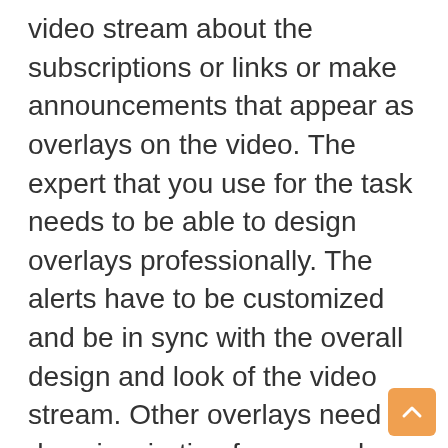video stream about the subscriptions or links or make announcements that appear as overlays on the video. The expert that you use for the task needs to be able to design overlays professionally. The alerts have to be customized and be in sync with the overall design and look of the video stream. Other overlays need to draw inspiration from popular games and TV shows as this will add to the interest of the viewers. The expertise of the freelancer will come into play in meeting these criteria.
The number of effects and transitions that are possible with animation kits and software are extensive and a good expert should possess the expertise and creativity to custom create graphics with the desired effects and transitions. Without effects and transitions animations look jaded in a video stream. The color, the position and the